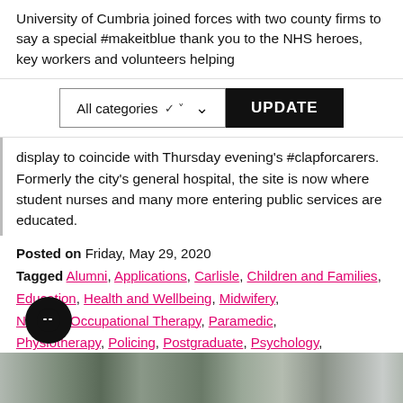University of Cumbria joined forces with two county firms to say a special #makeitblue thank you to the NHS heroes, key workers and volunteers helping
[Figure (screenshot): Filter bar with 'All categories' dropdown and 'UPDATE' button]
display to coincide with Thursday evening's #clapforcarers. Formerly the city's general hospital, the site is now where student nurses and many more entering public services are educated.
Posted on Friday, May 29, 2020
Tagged Alumni, Applications, Carlisle, Children and Families, Education, Health and Wellbeing, Midwifery, Nursing, Occupational Therapy, Paramedic, Physiotherapy, Policing, Postgraduate, Psychology, [Photog]raphy, Research
[Figure (photo): Photo strip at bottom showing trees and building exterior]